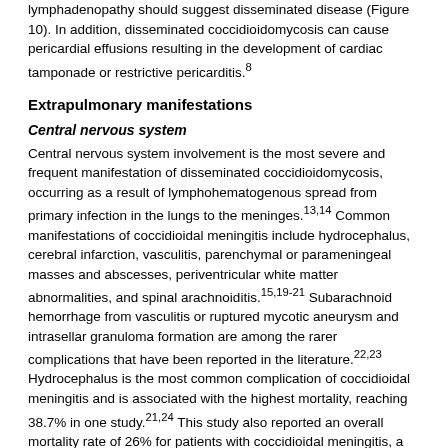lymphadenopathy should suggest disseminated disease (Figure 10). In addition, disseminated coccidioidomycosis can cause pericardial effusions resulting in the development of cardiac tamponade or restrictive pericarditis.8
Extrapulmonary manifestations
Central nervous system
Central nervous system involvement is the most severe and frequent manifestation of disseminated coccidioidomycosis, occurring as a result of lymphohematogenous spread from primary infection in the lungs to the meninges.13,14 Common manifestations of coccidioidal meningitis include hydrocephalus, cerebral infarction, vasculitis, parenchymal or parameningeal masses and abscesses, periventricular white matter abnormalities, and spinal arachnoiditis.15,19-21 Subarachnoid hemorrhage from vasculitis or ruptured mycotic aneurysm and intrasellar granuloma formation are among the rarer complications that have been reported in the literature.22,23 Hydrocephalus is the most common complication of coccidioidal meningitis and is associated with the highest mortality, reaching 38.7% in one study.21,24 This study also reported an overall mortality rate of 26% for patients with coccidioidal meningitis, a rate similar to other published series.24
Magnetic resonance (MR) imaging is superior to computed tomography (CT)